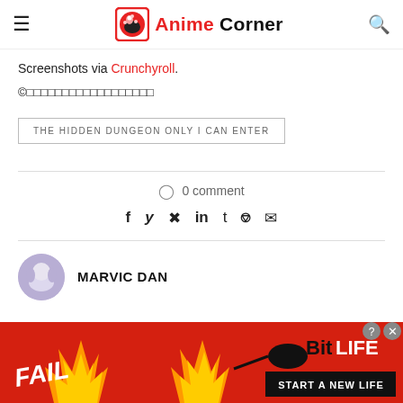Anime Corner
Screenshots via Crunchyroll.
©︎□□□□□□□□□□□□□□□□□□
THE HIDDEN DUNGEON ONLY I CAN ENTER
○ 0 comment
f  y  ⊕  in  t  ⊙  ✉
MARVIC DAN
[Figure (screenshot): BitLife advertisement banner with FAIL text, flame graphics, blonde character, and START A NEW LIFE button]